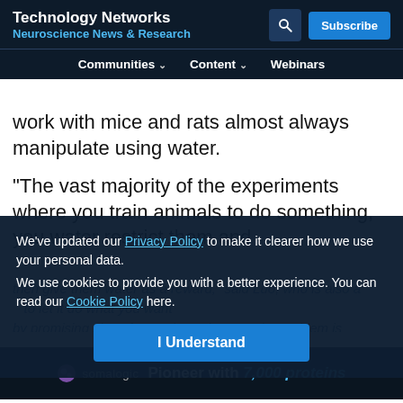Technology Networks – Neuroscience News & Research
work with mice and rats almost always manipulate using water.
“The vast majority of the experiments where you train animals to do something, you water restrict them and then give them water as a reward,” said Luo, who is also a
We’ve updated our Privacy Policy to make it clearer how we use your personal data.
We use cookies to provide you with a better experience. You can read our Cookie Policy here.
I Understand
Advertisement
[Figure (other): Somalogic advertisement banner: 'Pioneer with 7,000 proteins']